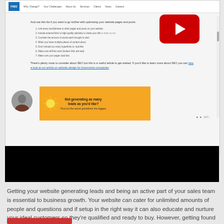[Figure (screenshot): Screenshot of a website page showing a navigation bar with logo and menu links, article text with a numbered list about optimising website pages and posts, a YouTube video player overlay, a circular avatar photo on the left, an orange banner reading 'Not generating as many leads as you'd like?' with a sun icon, and a black bar at the bottom.]
Getting your website generating leads and being an active part of your sales team is essential to business growth. Your website can cater for unlimited amounts of people and questions and if setup in the right way it can also educate and nurture your ideal customers so they're qualified and ready to buy. However, getting found and getting ideal customers to your website is critical and that's where Search Engine Optimisation (SEO) comes in.